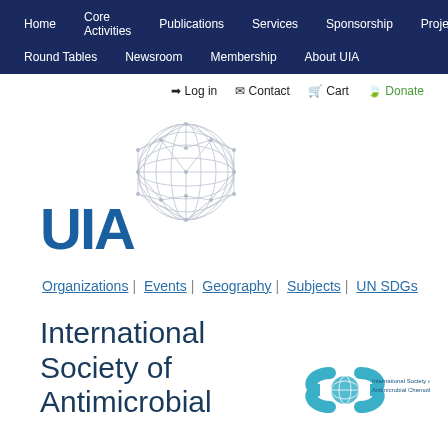Home | Core Activities | Publications | Services | Sponsorship | Projects | Round Tables | Newsroom | Membership | About UIA
➜ Log in  ✉ Contact  🛒 Cart  🌿 Donate
[Figure (logo): UIA logo with globe wireframe and blue UIA text]
Organizations | Events | Geography | Subjects | UN SDGs
[Figure (logo): International Society of Antimicrobial Chemotherapy logo with double helix and globe icon]
International Society of Antimicrobial